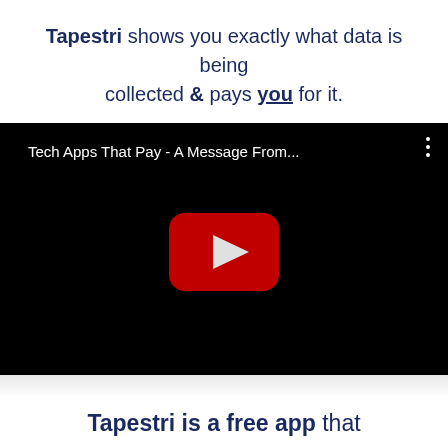Tapestri shows you exactly what data is being collected & pays you for it.
[Figure (screenshot): YouTube video embed showing title 'Tech Apps That Pay - A Message From...' with a YouTube play button on a black background]
Tapestri is a free app that